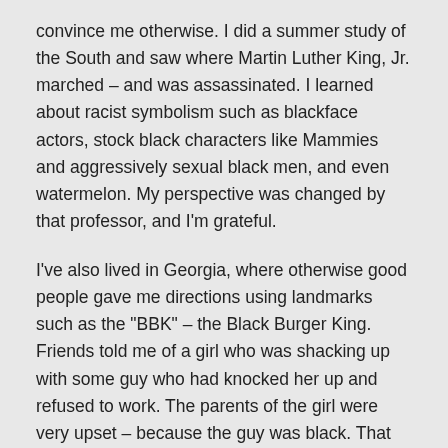convince me otherwise. I did a summer study of the South and saw where Martin Luther King, Jr. marched – and was assassinated. I learned about racist symbolism such as blackface actors, stock black characters like Mammies and aggressively sexual black men, and even watermelon. My perspective was changed by that professor, and I'm grateful.
I've also lived in Georgia, where otherwise good people gave me directions using landmarks such as the "BBK" – the Black Burger King. Friends told me of a girl who was shacking up with some guy who had knocked her up and refused to work. The parents of the girl were very upset – because the guy was black. That was the part of this scenario that concerned everyone.
Several years ago, I read Just Mercy by Bryan Stevenson,